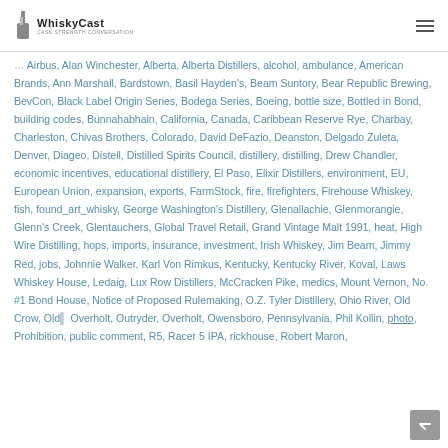WhiskyCast | Cask Strength Conversation
Airbus, Alan Winchester, Alberta, Alberta Distillers, alcohol, ambulance, American Brands, Ann Marshall, Bardstown, Basil Hayden's, Beam Suntory, Bear Republic Brewing, BevCon, Black Label Origin Series, Bodega Series, Boeing, bottle size, Bottled in Bond, building codes, Bunnahabhain, California, Canada, Caribbean Reserve Rye, Charbay, Charleston, Chivas Brothers, Colorado, David DeFazio, Deanston, Delgado Zuleta, Denver, Diageo, Distell, Distilled Spirits Council, distillery, distilling, Drew Chandler, economic incentives, educational distillery, El Paso, Elixir Distillers, environment, EU, European Union, expansion, exports, FarmStock, fire, firefighters, Firehouse Whiskey, fish, found_art_whisky, George Washington's Distillery, Glenallachie, Glenmorangie, Glenn's Creek, Glentauchers, Global Travel Retail, Grand Vintage Malt 1991, heat, High Wire Distilling, hops, imports, insurance, investment, Irish Whiskey, Jim Beam, Jimmy Red, jobs, Johnnie Walker, Karl Von Rimkus, Kentucky, Kentucky River, Koval, Laws Whiskey House, Ledaig, Lux Row Distillers, McCracken Pike, medics, Mount Vernon, No. #1 Bond House, Notice of Proposed Rulemaking, O.Z. Tyler Distillery, Ohio River, Old Crow, Old Overholt, Outryder, Overholt, Owensboro, Pennsylvania, Phil Kollin, photo, Prohibition, public comment, R5, Racer 5 IPA, rickhouse, Robert Maron,